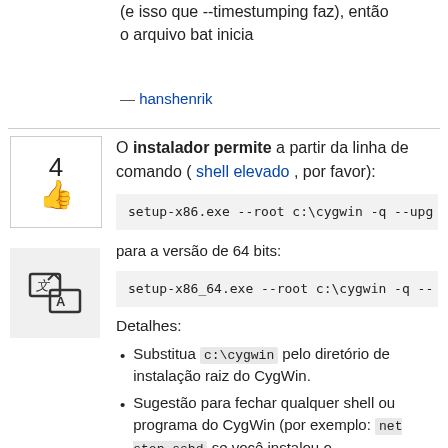(e isso que --timestumping faz), então o arquivo bat inicia
— hanshenrik
O instalador permite a partir da linha de comando ( shell elevado , por favor):
setup-x86.exe --root c:\cygwin -q --upg
para a versão de 64 bits:
setup-x86_64.exe --root c:\cygwin -q --
Detalhes:
Substitua c:\cygwin pelo diretório de instalação raiz do CygWin.
Sugestão para fechar qualquer shell ou programa do CygWin (por exemplo: net stop sshd se você instalou o